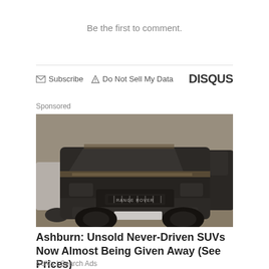Be the first to comment.
Subscribe  Do Not Sell My Data  DISQUS
Sponsored
[Figure (photo): A dusty dark grey Range Rover SUV covered in mud and debris, parked next to another dark vehicle, viewed from the front-left angle.]
Ashburn: Unsold Never-Driven SUVs Now Almost Being Given Away (See Prices)
SUVs | Search Ads